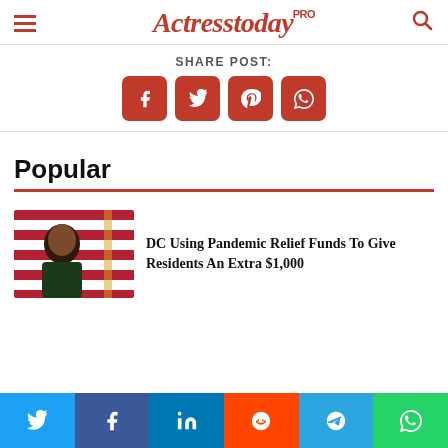Actresstoday PRO
SHARE POST:
[Figure (infographic): Share post buttons: Facebook, Twitter, Pinterest, WhatsApp (red rounded square icons)]
Popular
[Figure (photo): Photo of a woman speaking at a podium with American flags in background]
DC Using Pandemic Relief Funds To Give Residents An Extra $1,000
[Figure (infographic): Social share bar: Twitter, Facebook, LinkedIn, Reddit, Telegram, WhatsApp]